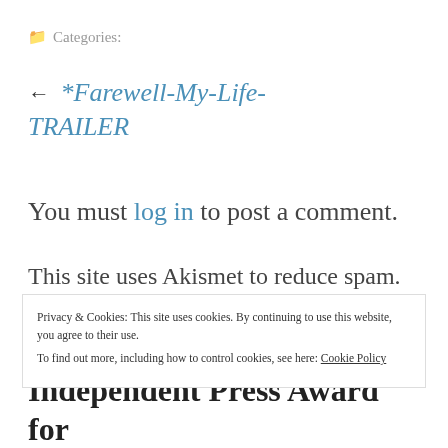Categories:
← *Farewell-My-Life-TRAILER
You must log in to post a comment.
This site uses Akismet to reduce spam. Learn how your comment data is processed
Privacy & Cookies: This site uses cookies. By continuing to use this website, you agree to their use. To find out more, including how to control cookies, see here: Cookie Policy
Close and accept
Support me
Independent Press Award for